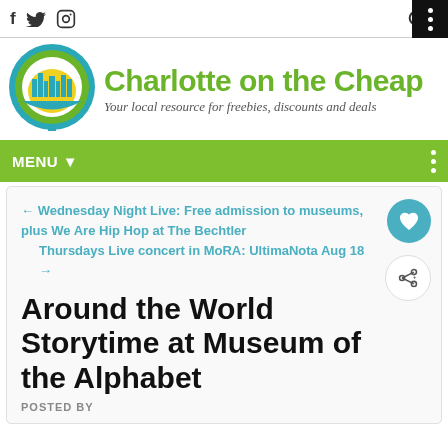f  ✦  🎵  🔍  ⋮
[Figure (logo): Charlotte on the Cheap logo — circular green coin icon with city skyline, with text 'Charlotte on the Cheap' and tagline 'Your local resource for freebies, discounts and deals']
MENU ▼
← Wednesday Night Live: Free admission to museums, plus We Are Hip Hop at The Bechtler
Thursdays Live concert in MoRA: UltimaNota Aug 18 →
Around the World Storytime at Museum of the Alphabet
POSTED BY